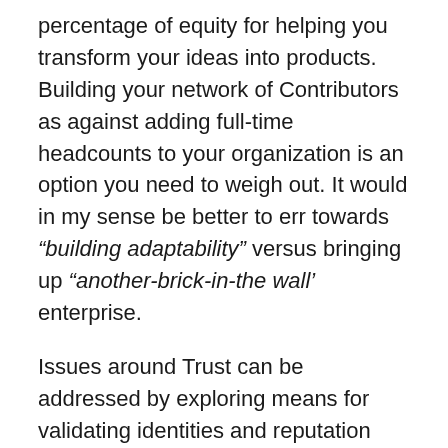percentage of equity for helping you transform your ideas into products. Building your network of Contributors as against adding full-time headcounts to your organization is an option you need to weigh out. It would in my sense be better to err towards “building adaptability” versus bringing up “another-brick-in-the wall’ enterprise.
Issues around Trust can be addressed by exploring means for validating identities and reputation available both in online and offline formats coupled with simple yet encompassing Teaming Agreements which help protect your IP.
There could be no better time for investing in your ecosystem of Contributors and other Ideators. This is simply because availability of talent and capacity is at an all time high now. And, so are the appetite for co-creation